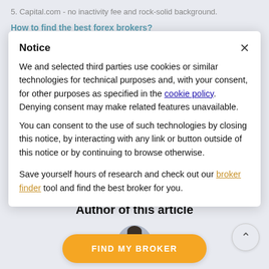5. Capital.com - no inactivity fee and rock-solid background.
How to find the best forex brokers?
Notice
We and selected third parties use cookies or similar technologies for technical purposes and, with your consent, for other purposes as specified in the cookie policy. Denying consent may make related features unavailable.
You can consent to the use of such technologies by closing this notice, by interacting with any link or button outside of this notice or by continuing to browse otherwise.
Save yourself hours of research and check out our broker finder tool and find the best broker for you.
Author of this article
[Figure (photo): Author photo - partial head shot of a person with dark hair]
FIND MY BROKER